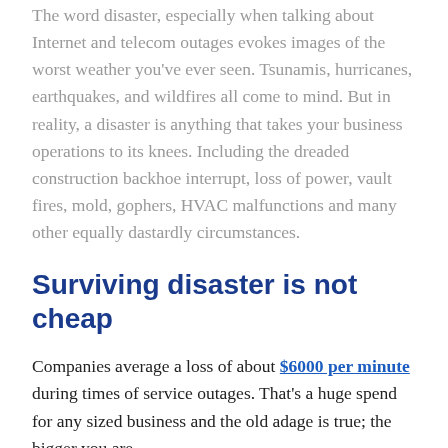The word disaster, especially when talking about Internet and telecom outages evokes images of the worst weather you've ever seen. Tsunamis, hurricanes, earthquakes, and wildfires all come to mind. But in reality, a disaster is anything that takes your business operations to its knees. Including the dreaded construction backhoe interrupt, loss of power, vault fires, mold, gophers, HVAC malfunctions and many other equally dastardly circumstances.
Surviving disaster is not cheap
Companies average a loss of about $6000 per minute during times of service outages. That's a huge spend for any sized business and the old adage is true; the bigger you are,